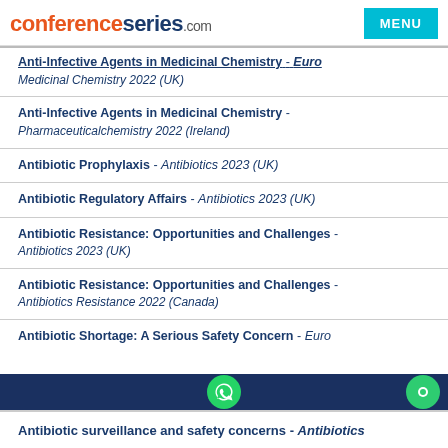conferenceseries.com | MENU
Anti-Infective Agents in Medicinal Chemistry - Euro Medicinal Chemistry 2022 (UK)
Anti-Infective Agents in Medicinal Chemistry - Pharmaceuticalchemistry 2022 (Ireland)
Antibiotic Prophylaxis - Antibiotics 2023 (UK)
Antibiotic Regulatory Affairs - Antibiotics 2023 (UK)
Antibiotic Resistance: Opportunities and Challenges - Antibiotics 2023 (UK)
Antibiotic Resistance: Opportunities and Challenges - Antibiotics Resistance 2022 (Canada)
Antibiotic Shortage: A Serious Safety Concern - Euro
Antibiotic surveillance and safety concerns - Antibiotics